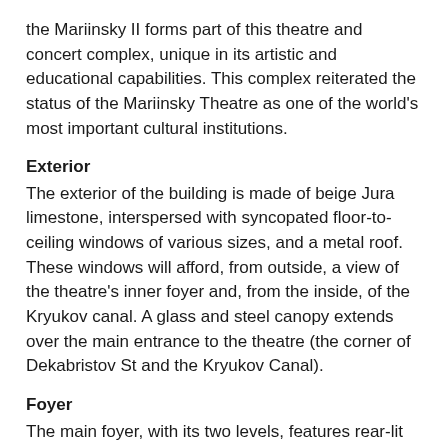the Mariinsky II forms part of this theatre and concert complex, unique in its artistic and educational capabilities. This complex reiterated the status of the Mariinsky Theatre as one of the world's most important cultural institutions.
Exterior
The exterior of the building is made of beige Jura limestone, interspersed with syncopated floor-to-ceiling windows of various sizes, and a metal roof. These windows will afford, from outside, a view of the theatre's inner foyer and, from the inside, of the Kryukov canal. A glass and steel canopy extends over the main entrance to the theatre (the corner of Dekabristov St and the Kryukov Canal).
Foyer
The main foyer, with its two levels, features rear-lit onyx stone walls that surround the auditorium and Emperador marble floors. Jura beige limestone walls frame the various windows that look onto Dekabristov Street and the Kryukov canal. Thanks to the surrounding glass façade, the foyer will be illuminated during the day by an abundance of natural light. For evening performances, custom-designed Swarovski chandeliers will illuminate the space. The main foyer provides unique views of the Mariinsky Theatre across the canal.